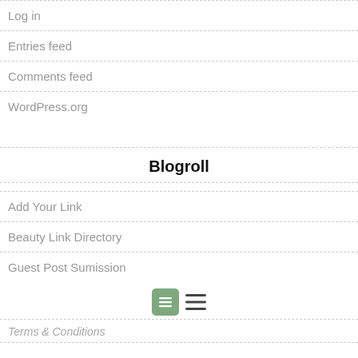Log in
Entries feed
Comments feed
WordPress.org
Blogroll
Add Your Link
Beauty Link Directory
Guest Post Sumission
[Figure (other): Two icons: a green rounded square with three horizontal lines (justify text icon) and a hamburger menu icon]
Terms & Conditions